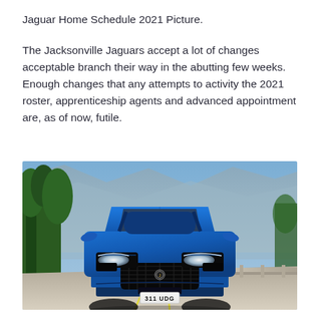Jaguar Home Schedule 2021 Picture.
The Jacksonville Jaguars accept a lot of changes acceptable branch their way in the abutting few weeks. Enough changes that any attempts to activity the 2021 roster, apprenticeship agents and advanced appointment are, as of now, futile.
[Figure (photo): Front view of a blue Jaguar F-Pace SVR SUV on a road with trees and mountains in the background. The license plate reads '311 UDG'.]